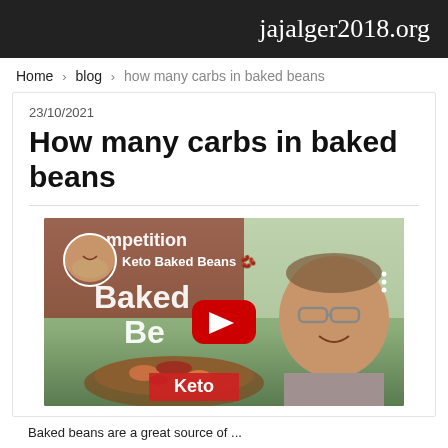jajalger2018.org
Home › blog › how many carbs in baked beans
23/10/2021
How many carbs in baked beans
[Figure (screenshot): YouTube video thumbnail showing a man holding a dish of baked beans outdoors. Overlaid text reads 'Competition', 'Keto Baked Beans', 'Baked Be[ans]', 'Keto'. A red YouTube play button is centered on the image. A circular profile avatar of a smiling man appears top-left.]
Baked beans are a great source of...